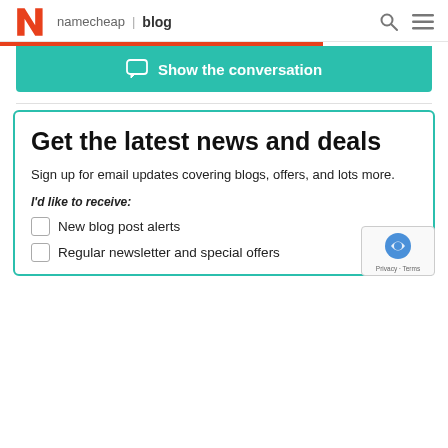namecheap | blog
Show the conversation
Get the latest news and deals
Sign up for email updates covering blogs, offers, and lots more.
I'd like to receive:
New blog post alerts
Regular newsletter and special offers